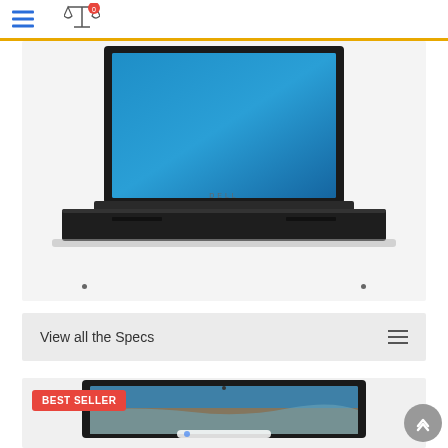Navigation bar with hamburger menu and compare icon
[Figure (photo): Dell laptop with blue screen displayed, shown from front, open lid, on light gray background]
View all the Specs
[Figure (photo): Chromebook laptop with aerial beach/ocean wallpaper on screen, shown from front, open lid, with BEST SELLER badge in red]
BEST SELLER